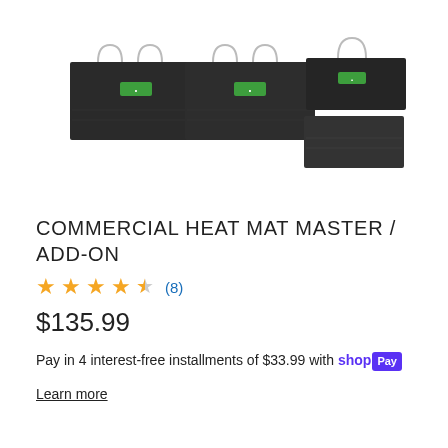[Figure (photo): Three commercial heat mat products shown side by side. Left: a single flat dark mat with cable loop at top. Center: a single flat dark mat with cable. Right: two dark mats stacked/overlapping with cable loop.]
COMMERCIAL HEAT MAT MASTER / ADD-ON
★★★★½ (8)
$135.99
Pay in 4 interest-free installments of $33.99 with shop Pay
Learn more